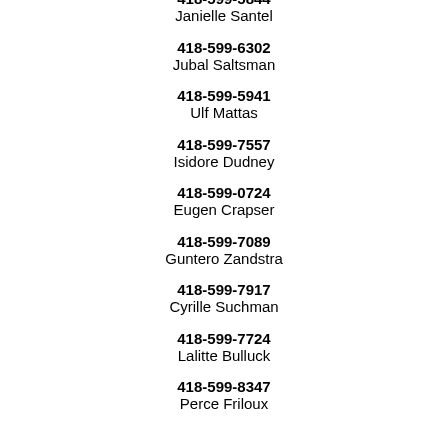418-599-5844
Janielle Santel
418-599-6302
Jubal Saltsman
418-599-5941
Ulf Mattas
418-599-7557
Isidore Dudney
418-599-0724
Eugen Crapser
418-599-7089
Guntero Zandstra
418-599-7917
Cyrille Suchman
418-599-7724
Lalitte Bulluck
418-599-8347
Perce Friloux